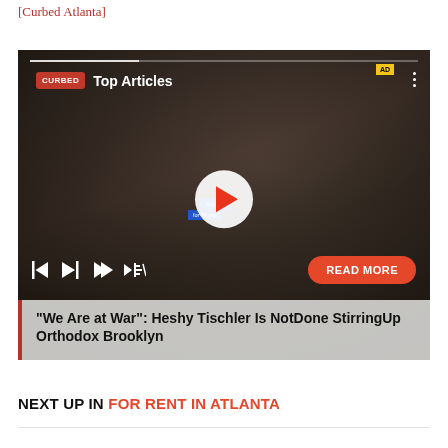[Curbed Atlanta]
[Figure (screenshot): Curbed video player showing 'Top Articles' playlist with a news story thumbnail. A man wearing a Google Developers lanyard is visible. Controls show play/pause, skip buttons, mute, and a red 'READ MORE' button. Title overlay reads: "We Are at War": Heshy Tischler Is NotDone StirringUp Orthodox Brooklyn]
NEXT UP IN FOR RENT IN ATLANTA